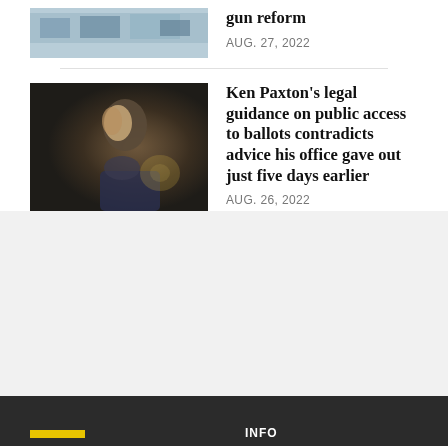[Figure (photo): Photo related to gun reform story, partial view of indoor scene]
gun reform
AUG. 27, 2022
[Figure (photo): Profile photo of Ken Paxton, side-facing portrait against dark background]
Ken Paxton's legal guidance on public access to ballots contradicts advice his office gave out just five days earlier
AUG. 26, 2022
INFO